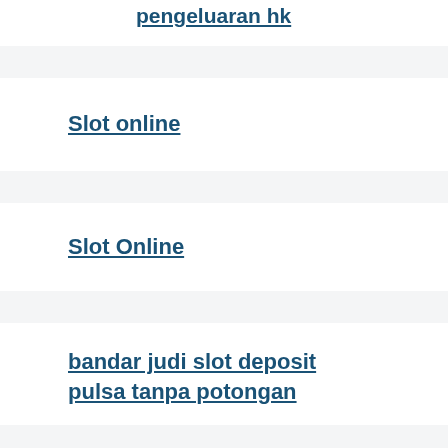pengeluaran hk
Slot online
Slot Online
bandar judi slot deposit pulsa tanpa potongan
slot88